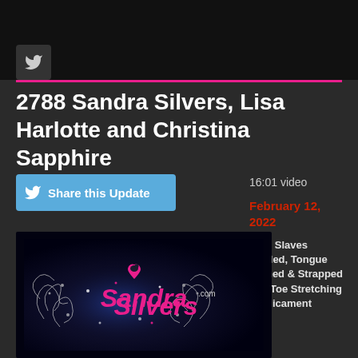[Figure (screenshot): Dark banner/header image with Twitter bird icon and pink horizontal line below]
2788 Sandra Silvers, Lisa Harlotte and Christina Sapphire
[Figure (logo): Share this Update button with Twitter bird icon, blue background]
16:01 video
February 12, 2022
Foot Slaves Tickled, Tongue Bathed & Strapped in a Toe Stretching Predicament
[Figure (logo): SandraSilvers.com logo on dark background with decorative floral elements, pink script lettering with heart]